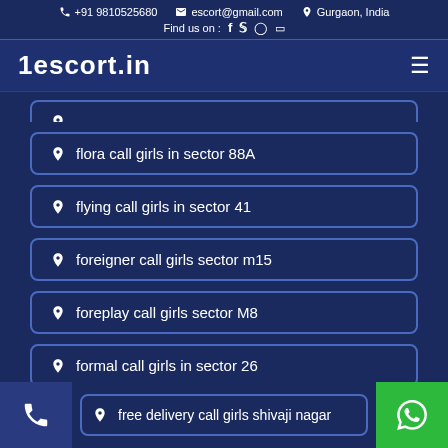+91 9810525680  escort@gmail.com  Gurgaon, India  Find us on : [social icons]
1escort.in
flora call girls in sector 88A
flying call girls in sector 41
foreigner call girls sector m15
foreplay call girls sector M8
formal call girls in sector 26
free delivery call girls shivaji nagar